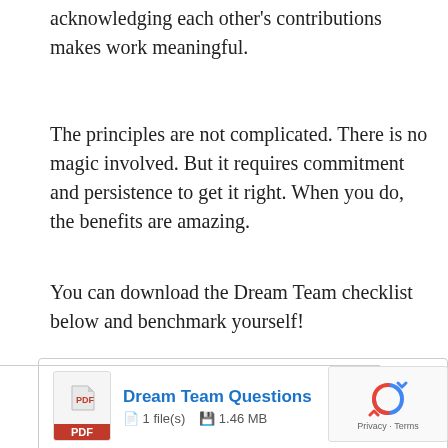acknowledging each other's contributions makes work meaningful.
The principles are not complicated. There is no magic involved. But it requires commitment and persistence to get it right. When you do, the benefits are amazing.
You can download the Dream Team checklist below and benchmark yourself!
[Figure (other): Download box for 'Dream Team Questions' PDF file, showing PDF icon, file name in blue, '1 file(s)', '1.46 MB', and a blue DOWNLOAD button]
[Figure (other): reCAPTCHA widget with spinning arrows icon and 'Privacy - Terms' text]